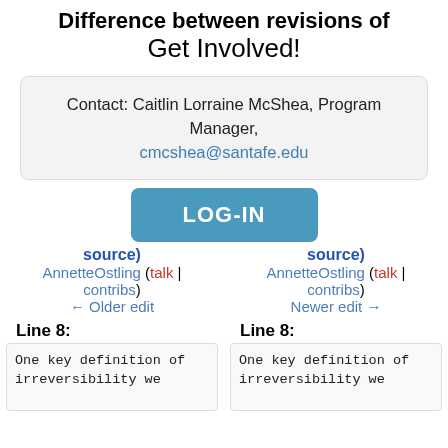Difference between revisions of
Get Involved!
Contact: Caitlin Lorraine McShea, Program Manager, cmcshea@santafe.edu
[Figure (other): LOG-IN button (blue rounded rectangle)]
source) AnnetteOstling (talk | contribs) ← Older edit
source) AnnetteOstling (talk | contribs) Newer edit →
Line 8:
Line 8:
One key definition of irreversibility we
One key definition of irreversibility we